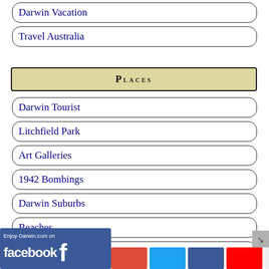Outback Tours
Darwin Vacation
Travel Australia
Places
Darwin Tourist
Litchfield Park
Art Galleries
1942 Bombings
Darwin Suburbs
Beaches
Darwin Parks
Park
Page Top